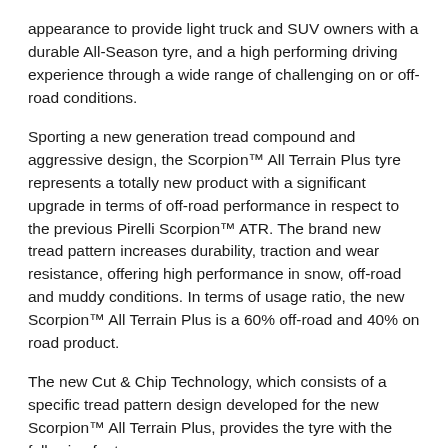appearance to provide light truck and SUV owners with a durable All-Season tyre, and a high performing driving experience through a wide range of challenging on or off-road conditions.
Sporting a new generation tread compound and aggressive design, the Scorpion™ All Terrain Plus tyre represents a totally new product with a significant upgrade in terms of off-road performance in respect to the previous Pirelli Scorpion™ ATR. The brand new tread pattern increases durability, traction and wear resistance, offering high performance in snow, off-road and muddy conditions. In terms of usage ratio, the new Scorpion™ All Terrain Plus is a 60% off-road and 40% on road product.
The new Cut & Chip Technology, which consists of a specific tread pattern design developed for the new Scorpion™ All Terrain Plus, provides the tyre with the following features:
1. Aggressive Tread Pattern and Upper Sidewall Design